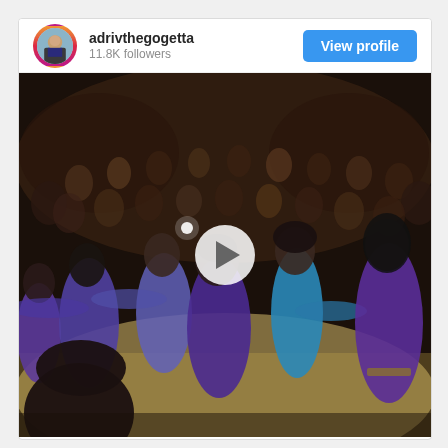adrivthegogetta
11.8K followers
View profile
[Figure (photo): Instagram post from @adrivthegogetta showing a group of people dancing on a court floor in purple and teal/blue outfits, with a large crowd of spectators visible in the background. A video play button overlay is visible in the center of the image.]